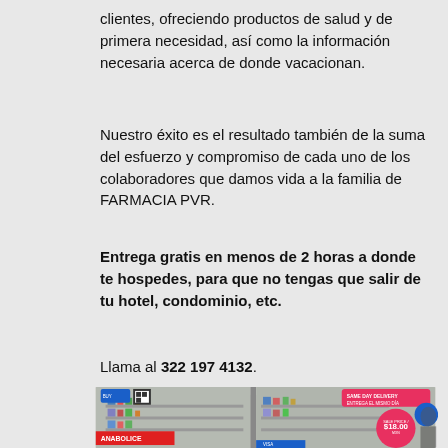clientes, ofreciendo productos de salud y de primera necesidad, así como la información necesaria acerca de donde vacacionan.
Nuestro éxito es el resultado también de la suma del esfuerzo y compromiso de cada uno de los colaboradores que damos vida a la familia de FARMACIA PVR.
Entrega gratis en menos de 2 horas a donde te hospedes, para que no tengas que salir de tu hotel, condominio, etc.
Llama al 322 197 4132.
[Figure (photo): Exterior view of Farmacia PVR pharmacy storefront with glass windows showing shelves of products inside. Signs visible include 'SAME DAY DELIVERY / ENTREGA EL MISMO DIA', 'ANABOLICE', and a price sign showing '$18.00 MXN / $1 USD'.]